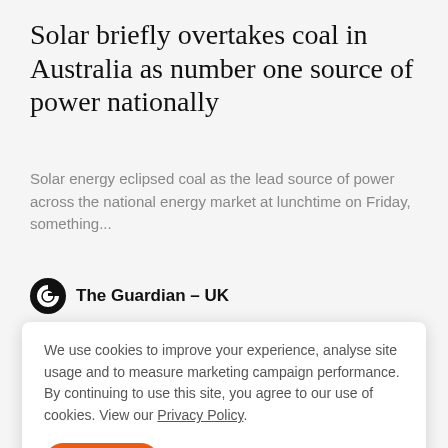Solar briefly overtakes coal in Australia as number one source of power nationally
Solar energy eclipsed coal as the lead source of power across the national energy market at lunchtime on Friday, something...
The Guardian – UK
We use cookies to improve your experience, analyse site usage and to measure marketing campaign performance. By continuing to use this site, you agree to our use of cookies. View our Privacy Policy.
ACCEPT